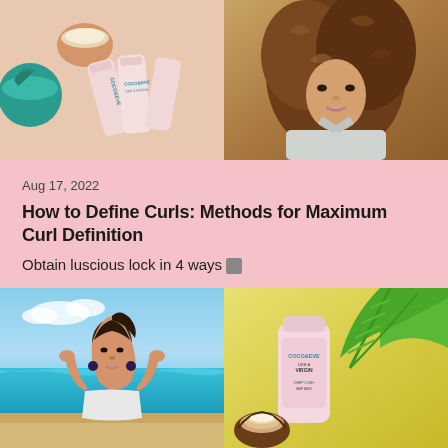[Figure (photo): Top banner composed of two images: left side shows Coco & Eve hair product bottles (pink/white) alongside a bowl of hair mask and teal container on pink background; right side shows a young woman with beautiful curly hair wearing a white bikini top]
Aug 17, 2022
How to Define Curls: Methods for Maximum Curl Definition
Obtain luscious lock in 4 ways 🔗
[Figure (photo): Bottom banner composed of two images: left side shows a young brunette woman in white swimsuit at a tropical beach with turquoise water and blue sky; right side shows a Coco & Eve Like a Virgin hair product tube (pink) next to a coconut half, with green palm leaf on yellow background]